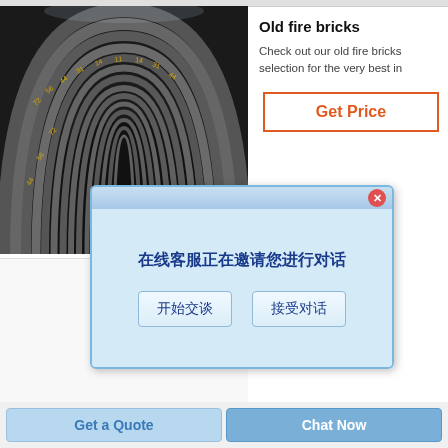[Figure (photo): Industrial circular fire brick tunnel/kiln lining viewed from inside, showing concentric rings of dark bricks with yellow markings]
Old fire bricks
Check out our old fire bricks selection for the very best in
[Figure (screenshot): Chinese language chat popup dialog with message '在线客服正在邀请您进行对话' and two buttons '开始交谈' and '接受对话']
[Figure (logo): Rongsheng company logo with flame globe icon and text 'Rongsheng']
[Figure (photo): Gray refractory fire brick with T3 marking on top surface]
Get Price
Get a Quote
Chat Now